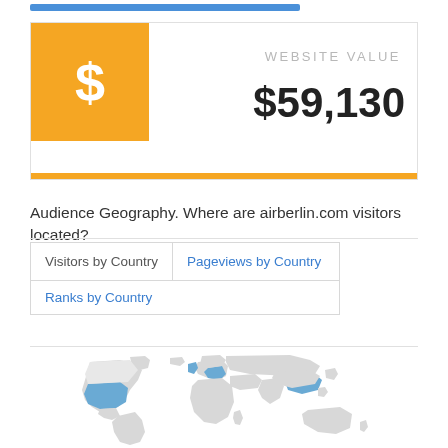[Figure (infographic): Orange square icon with white dollar sign ($)]
WEBSITE VALUE
$59,130
Audience Geography. Where are airberlin.com visitors located?
Visitors by Country | Pageviews by Country | Ranks by Country
[Figure (map): World map showing audience geography with highlighted countries in blue, including USA and parts of Europe]